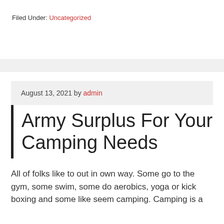Filed Under: Uncategorized
August 13, 2021 by admin
Army Surplus For Your Camping Needs
All of folks like to out in own way. Some go to the gym, some swim, some do aerobics, yoga or kick boxing and some like seem camping. Camping is a